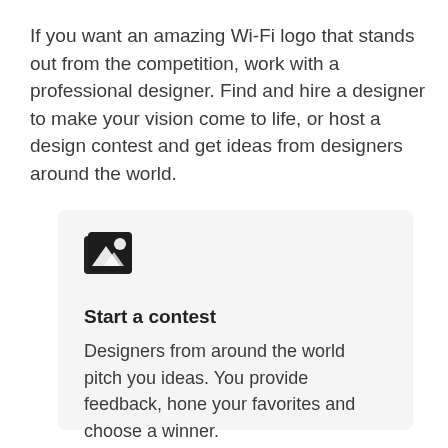If you want an amazing Wi-Fi logo that stands out from the competition, work with a professional designer. Find and hire a designer to make your vision come to life, or host a design contest and get ideas from designers around the world.
[Figure (illustration): Card with a design contest icon (stacked photo/image layers icon), a bold heading 'Start a contest', and descriptive body text.]
Start a contest
Designers from around the world pitch you ideas. You provide feedback, hone your favorites and choose a winner.